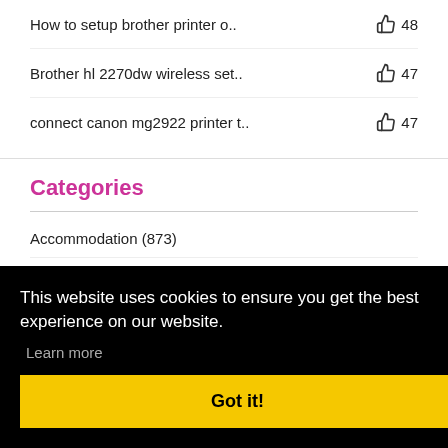How to setup brother printer o.. 👍 48
Brother hl 2270dw wireless set.. 👍 47
connect canon mg2922 printer t.. 👍 47
Categories
Accommodation (873)
Advertising and Marketing (210)
This website uses cookies to ensure you get the best experience on our website.
Learn more
Got it!